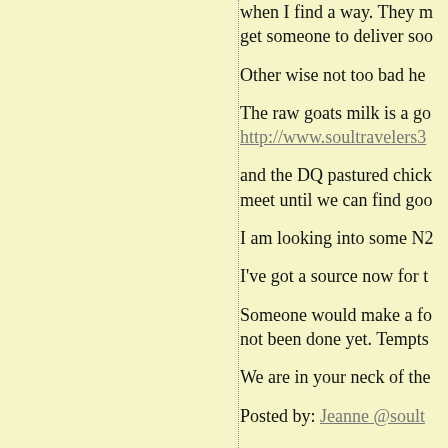when I find a way. They m get someone to deliver soo
Other wise not too bad he
The raw goats milk is a go http://www.soultravelers3
and the DQ pastured chick meet until we can find goo
I am looking into some N2
I've got a source now for t
Someone would make a fo not been done yet. Tempts
We are in your neck of the
Posted by: Jeanne @soult